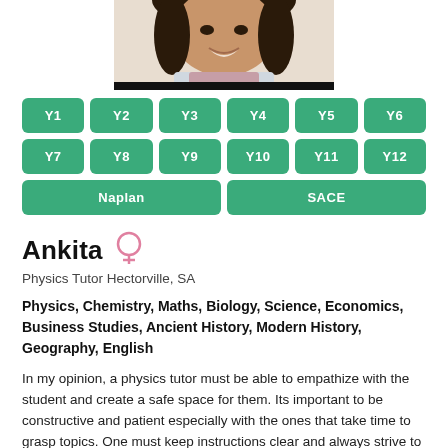[Figure (photo): Profile photo of Ankita, a young woman smiling, cropped at top showing face and upper body]
Y1 Y2 Y3 Y4 Y5 Y6 Y7 Y8 Y9 Y10 Y11 Y12 Naplan SACE
Ankita
Physics Tutor Hectorville, SA
Physics, Chemistry, Maths, Biology, Science, Economics, Business Studies, Ancient History, Modern History, Geography, English
In my opinion, a physics tutor must be able to empathize with the student and create a safe space for them. Its important to be constructive and patient especially with the ones that take time to grasp topics. One must keep instructions clear and always strive to empower the child by